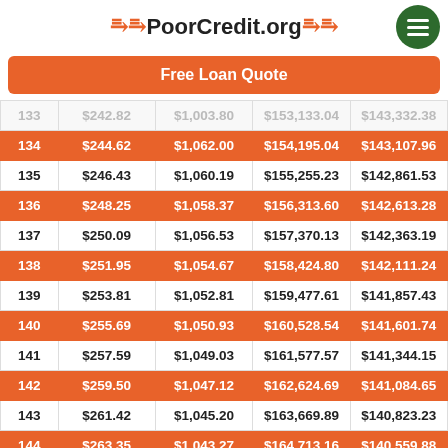=PoorCredit.org=
Free Loan Quote
|  |  |  |  |  |
| --- | --- | --- | --- | --- |
| 133 | $242.82 | $1,003.80 | $153,133.04 | $143,332.38 |
| 134 | $244.62 | $1,062.00 | $154,195.04 | $143,107.96 |
| 135 | $246.43 | $1,060.19 | $155,255.23 | $142,861.53 |
| 136 | $248.25 | $1,058.37 | $156,313.60 | $142,613.28 |
| 137 | $250.09 | $1,056.53 | $157,370.13 | $142,363.19 |
| 138 | $251.95 | $1,054.67 | $158,424.80 | $142,111.24 |
| 139 | $253.81 | $1,052.81 | $159,477.61 | $141,857.43 |
| 140 | $255.69 | $1,050.93 | $160,528.54 | $141,601.74 |
| 141 | $257.59 | $1,049.03 | $161,577.57 | $141,344.15 |
| 142 | $259.50 | $1,047.12 | $162,624.69 | $141,084.65 |
| 143 | $261.42 | $1,045.20 | $163,669.89 | $140,823.23 |
| 144 | $263.35 | $1,043.27 | $164,713.16 | $140,559.88 |
| 145 | $265.31 | $1,041.21 | $165,754.47 | $140,294.57 |